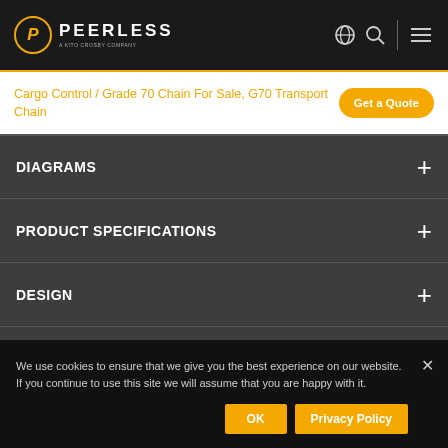PEERLESS — A Kito Crosby Company
Cargo Control / Grade 70 Chain For Sale, G70 Transport Chain
DIAGRAMS
PRODUCT SPECIFICATIONS
DESIGN
RELATED PRODUCTS
We use cookies to ensure that we give you the best experience on our website. If you continue to use this site we will assume that you are happy with it.